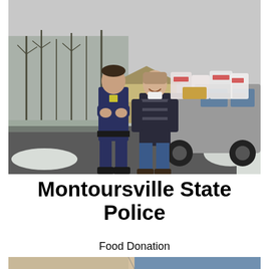[Figure (photo): Two people standing in front of a pickup truck loaded with grocery bags and food donations in a snowy parking lot. One person is wearing a police uniform, the other is in a casual sweater and jeans.]
Montoursville State Police
Food Donation
[Figure (photo): Partial view of an indoor scene, bottom portion cut off.]